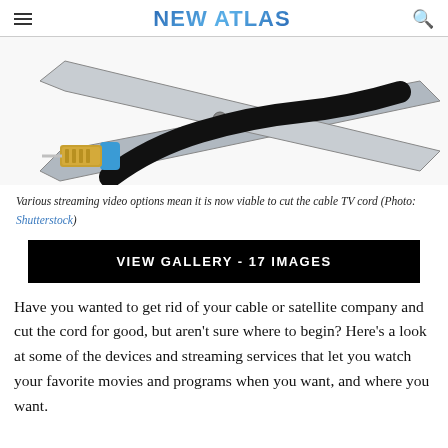NEW ATLAS
[Figure (photo): Scissors cutting a coaxial cable with gold connector and blue ring, on a white background]
Various streaming video options mean it is now viable to cut the cable TV cord (Photo: Shutterstock)
VIEW GALLERY - 17 IMAGES
Have you wanted to get rid of your cable or satellite company and cut the cord for good, but aren't sure where to begin? Here's a look at some of the devices and streaming services that let you watch your favorite movies and programs when you want, and where you want.